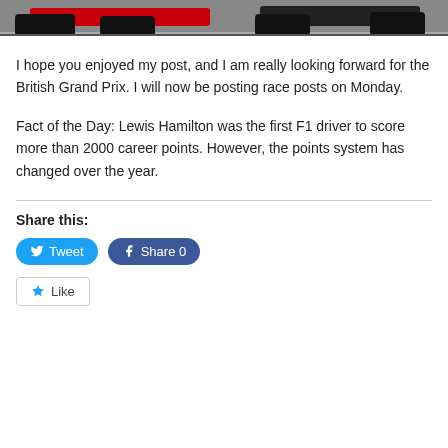[Figure (photo): Top portion of a Formula 1 race photo showing the rear of race cars on track, partially cropped at the top of the page.]
I hope you enjoyed my post, and I am really looking forward for the British Grand Prix. I will now be posting race posts on Monday.
Fact of the Day: Lewis Hamilton was the first F1 driver to score more than 2000 career points. However, the points system has changed over the year.
Share this:
[Figure (screenshot): Tweet button (blue rounded) and Share 0 Facebook button (dark blue rounded)]
[Figure (screenshot): Like button with star icon]